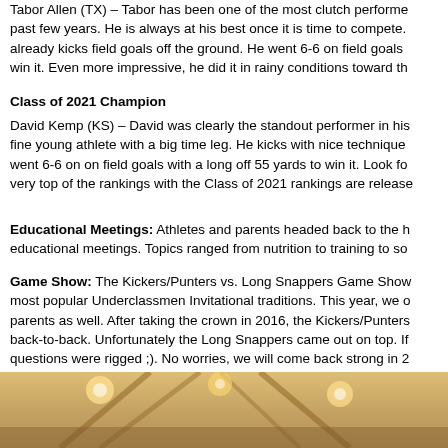Tabor Allen (TX) – Tabor has been one of the most clutch performers over the past few years. He is always at his best once it is time to compete. He already kicks field goals off the ground. He went 6-6 on field goals with a long to win it. Even more impressive, he did it in rainy conditions toward th
Class of 2021 Champion
David Kemp (KS) – David was clearly the standout performer in his class, a fine young athlete with a big time leg. He kicks with nice technique and went 6-6 on on field goals with a long off 55 yards to win it. Look fo very top of the rankings with the Class of 2021 rankings are release
Educational Meetings: Athletes and parents headed back to the h educational meetings. Topics ranged from nutrition to training to so
Game Show: The Kickers/Punters vs. Long Snappers Game Show most popular Underclassmen Invitational traditions. This year, we o parents as well. After taking the crown in 2016, the Kickers/Punters back-to-back. Unfortunately the Long Snappers came out on top. If questions were rigged ;). No worries, we will come back strong in 2
[Figure (photo): Interior photo of a banquet hall or event venue with chandeliers and warm lighting visible at the bottom of the page]